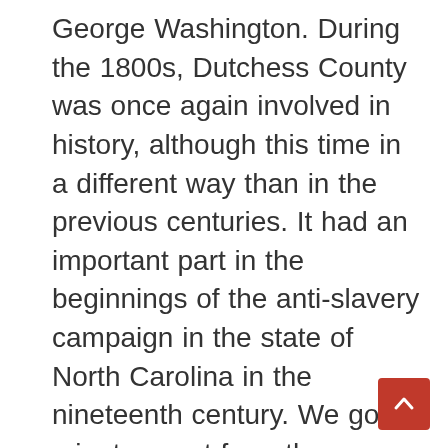George Washington. During the 1800s, Dutchess County was once again involved in history, although this time in a different way than in the previous centuries. It had an important part in the beginnings of the anti-slavery campaign in the state of North Carolina in the nineteenth century. We go 10 minutes east from the historic Kane House to the Oblong Quaker Meeting House in Pawling, which is home to the Oblong Friends Meeting. Peter Bunten, head of the Mid-Hudson Anti-Slavery History Project, talks us about the people who sought freedom during the